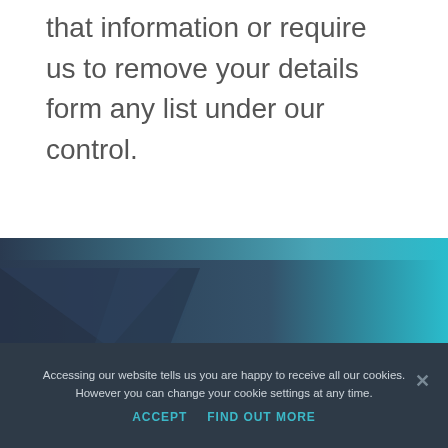that information or require us to remove your details form any list under our control.
[Figure (illustration): Dark navy and teal gradient background panel with diagonal geometric shapes forming the footer area of the page]
Accessing our website tells us you are happy to receive all our cookies. However you can change your cookie settings at any time.
ACCEPT   FIND OUT MORE